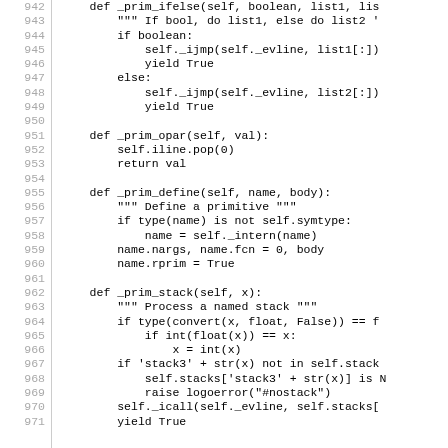Code listing lines 942-971 showing Python methods: _prim_ifelse, _prim_opar, _prim_define, _prim_stack